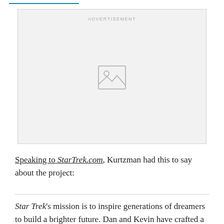[Figure (other): Advertisement placeholder box with image icon and 'ADVERTISEMENT' label]
Speaking to StarTrek.com, Kurtzman had this to say about the project:
Star Trek's mission is to inspire generations of dreamers to build a brighter future. Dan and Kevin have crafted a story